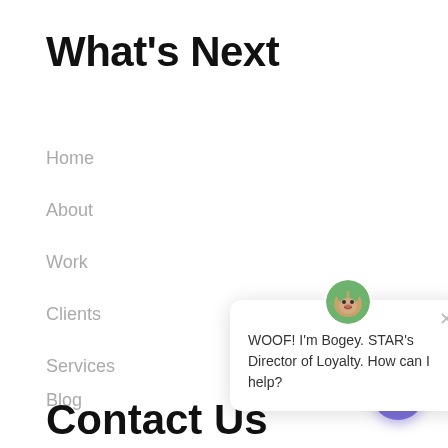What's Next
Home
About
Work
Clients
Services
Blog
Contact
[Figure (screenshot): Chat popup widget showing a dog avatar (Bogey) with message: WOOF! I'm Bogey. STAR's Director of Loyalty. How can I help? With a close (X) button and a purple chat bubble button in the bottom right.]
Contact Us